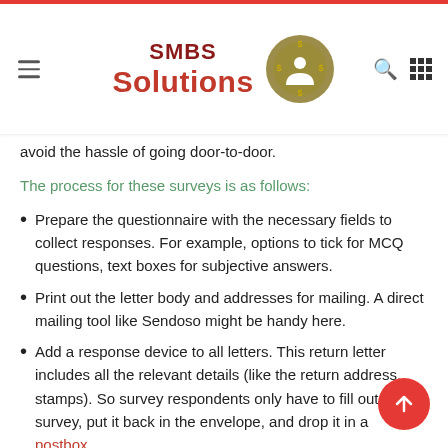SMBS Solutions
avoid the hassle of going door-to-door.
The process for these surveys is as follows:
Prepare the questionnaire with the necessary fields to collect responses. For example, options to tick for MCQ questions, text boxes for subjective answers.
Print out the letter body and addresses for mailing. A direct mailing tool like Sendoso might be handy here.
Add a response device to all letters. This return letter includes all the relevant details (like the return address, stamps). So survey respondents only have to fill out the survey, put it back in the envelope, and drop it in a postbox.